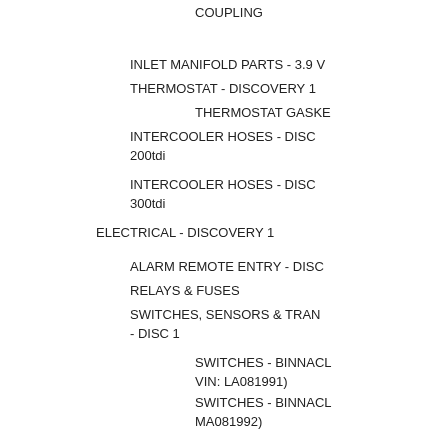COUPLING
INLET MANIFOLD PARTS - 3.9 V...
THERMOSTAT - DISCOVERY 1
THERMOSTAT GASKET...
INTERCOOLER HOSES - DISCO... 200tdi
INTERCOOLER HOSES - DISCO... 300tdi
ELECTRICAL - DISCOVERY 1
ALARM REMOTE ENTRY - DISC...
RELAYS & FUSES
SWITCHES, SENSORS & TRAN... - DISC 1
SWITCHES - BINNACL... VIN: LA081991)
SWITCHES - BINNACL... MA081992)
STEERING COLUMN S... DISCOVERY (to VIN: L...
BLINKER & W... SWITCH (to L...
IGNITION S...